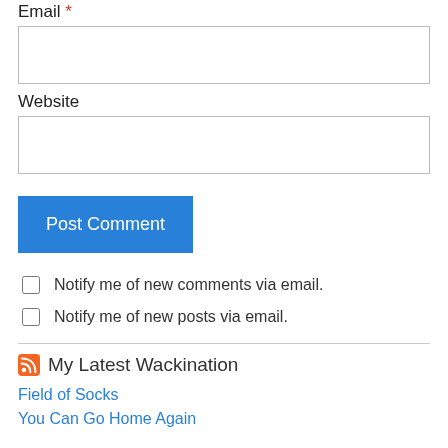Email *
Website
Post Comment
Notify me of new comments via email.
Notify me of new posts via email.
My Latest Wackination
Field of Socks
You Can Go Home Again